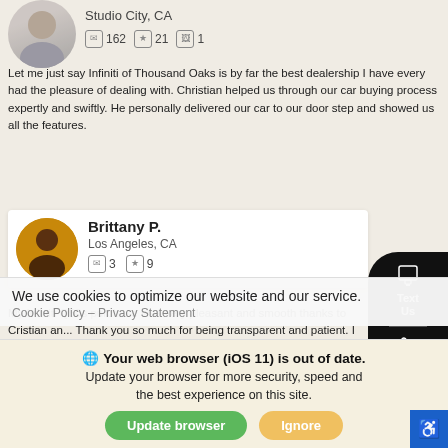[Figure (photo): Circular avatar of a person, grey/blurred, top left corner partial view]
Studio City, CA
162  21  1
Let me just say Infiniti of Thousand Oaks is by far the best dealership I have every had the pleasure of dealing with. Christian helped us through our car buying process expertly and swiftly. He personally delivered our car to our door step and showed us all the features.
[Figure (photo): Circular avatar photo of Brittany P., woman with dark background]
Brittany P.
Los Angeles, CA
3  9
My Infiniti Q50s purchase was very pleasant and smooth thanks to Cristian an... Thank you so much for being transparent and patient. I already knew what ve... was shopping for which made it a little easier with decision making.
[Figure (photo): Text Us button overlay - black rounded pill with phone icon and call icon]
[Figure (photo): Circular avatar of Alex M., black and white photo]
Alex M.
We use cookies to optimize our website and our service.
Cookie Policy  -  Privacy Statement
Your web browser (iOS 11) is out of date.
Update your browser for more security, speed and the best experience on this site.
Update browser
Ignore